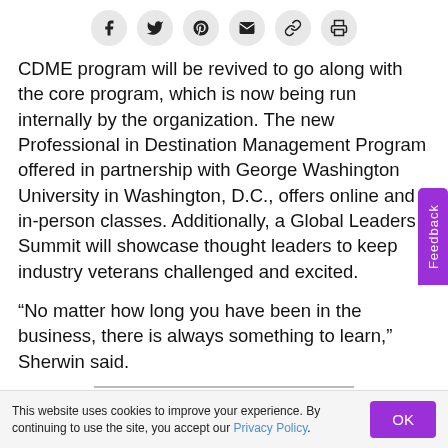[Social share icons: Facebook, Twitter, Pinterest, Email, Link, Print]
CDME program will be revived to go along with the core program, which is now being run internally by the organization. The new Professional in Destination Management Program offered in partnership with George Washington University in Washington, D.C., offers online and in-person classes. Additionally, a Global Leaders Summit will showcase thought leaders to keep industry veterans challenged and excited.
“No matter how long you have been in the business, there is always something to learn,” Sherwin said.
This website uses cookies to improve your experience. By continuing to use the site, you accept our Privacy Policy.